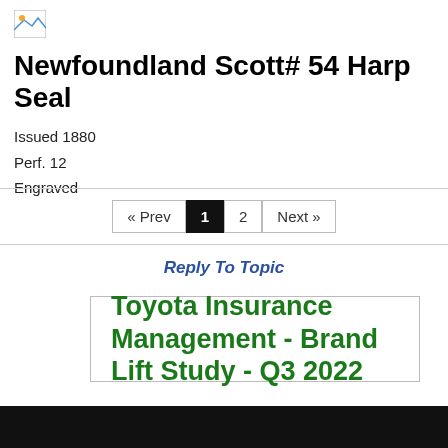[Figure (logo): Small broken image icon placeholder in top left corner]
Newfoundland Scott# 54 Harp Seal
Issued 1880
Perf. 12
Engraved
« Prev  1  2  Next »
Reply To Topic
Toyota Insurance Management - Brand Lift Study - Q3 2022